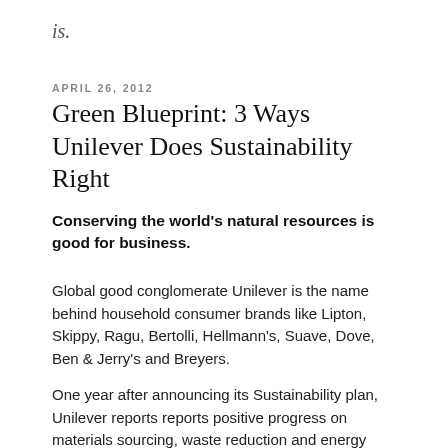is.
APRIL 26, 2012
Green Blueprint: 3 Ways Unilever Does Sustainability Right
Conserving the world's natural resources is good for business.
Global good conglomerate Unilever is the name behind household consumer brands like Lipton, Skippy, Ragu, Bertolli, Hellmann's, Suave, Dove, Ben & Jerry's and Breyers.
One year after announcing its Sustainability plan, Unilever reports reports positive progress on materials sourcing, waste reduction and energy efficiency.